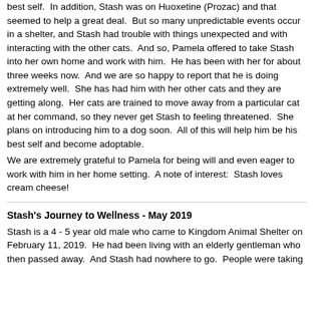best self. In addition, Stash was on Huoxetine (Prozac) and that seemed to help a great deal. But so many unpredictable events occur in a shelter, and Stash had trouble with things unexpected and with interacting with the other cats. And so, Pamela offered to take Stash into her own home and work with him. He has been with her for about three weeks now. And we are so happy to report that he is doing extremely well. She has had him with her other cats and they are getting along. Her cats are trained to move away from a particular cat at her command, so they never get Stash to feeling threatened. She plans on introducing him to a dog soon. All of this will help him be his best self and become adoptable.
We are extremely grateful to Pamela for being will and even eager to work with him in her home setting. A note of interest: Stash loves cream cheese!
Stash's Journey to Wellness - May 2019
Stash is a 4 - 5 year old male who came to Kingdom Animal Shelter on February 11, 2019. He had been living with an elderly gentleman who then passed away. And Stash had nowhere to go. People were taking